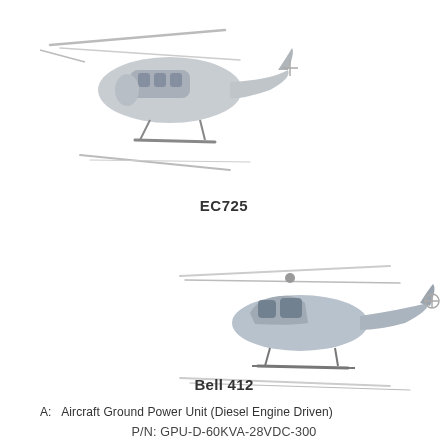[Figure (photo): EC725 military helicopter in flight, gray/silver livery, viewed from below-left angle, rotary wing aircraft with tail rotor visible]
EC725
[Figure (photo): Bell 412 helicopter in flight, light blue/gray livery, twin-blade rotor, viewed from left side with skid landing gear visible]
Bell 412
A:   Aircraft Ground Power Unit (Diesel Engine Driven)
P/N: GPU-D-60KVA-28VDC-300